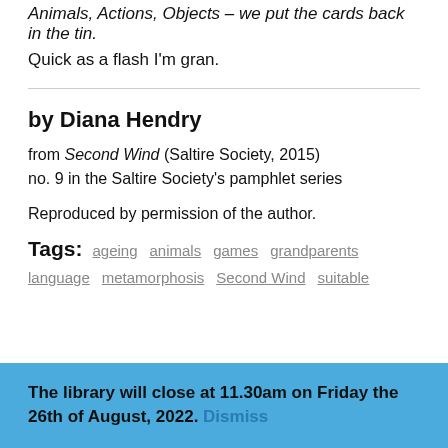Animals, Actions, Objects – we put the cards back in the tin.
Quick as a flash I'm gran.
by Diana Hendry
from Second Wind (Saltire Society, 2015)
no. 9 in the Saltire Society's pamphlet series
Reproduced by permission of the author.
Tags: ageing  animals  games  grandparents  language  metamorphosis  Second Wind  suitable
The library will close at 11.30am on Friday the 26th of August, 2022. Dismiss